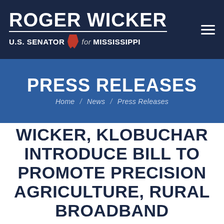[Figure (logo): Roger Wicker U.S. Senator for Mississippi logo with Mississippi state silhouette in red]
PRESS RELEASES
Home / News / Press Releases
WICKER, KLOBUCHAR INTRODUCE BILL TO PROMOTE PRECISION AGRICULTURE, RURAL BROADBAND